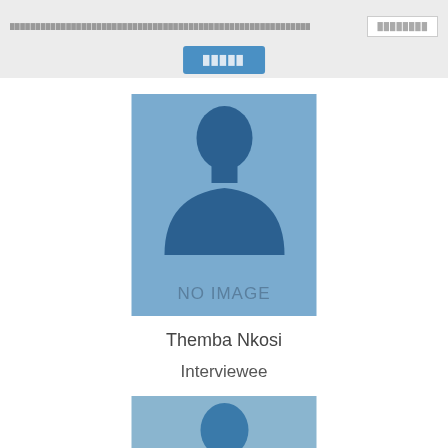navigation breadcrumb bar with button
█████
[Figure (illustration): Profile placeholder image with blue background showing silhouette of a person and text 'NO IMAGE']
Themba Nkosi
Interviewee
[Figure (illustration): Second profile placeholder image with blue-grey background showing silhouette of a person, partially visible at bottom of page]